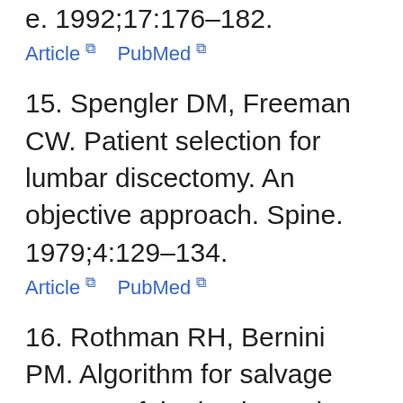e. 1992;17:176–182.
Article  PubMed
15. Spengler DM, Freeman CW. Patient selection for lumbar discectomy. An objective approach. Spine. 1979;4:129–134.
Article  PubMed
16. Rothman RH, Bernini PM. Algorithm for salvage surgery of the lumbar spine. C